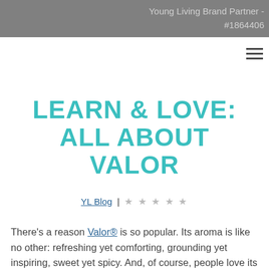Young Living Brand Partner - #1864406
LEARN & LOVE: ALL ABOUT VALOR
YL Blog | ★★★★★
There's a reason Valor® is so popular. Its aroma is like no other: refreshing yet comforting, grounding yet inspiring, sweet yet spicy. And, of course, people love its vivid blue color! Check out this infographic to learn